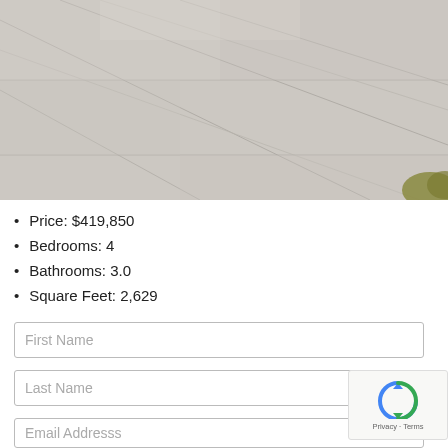[Figure (photo): Aerial or ground-level view of a light grey concrete surface with diagonal expansion joint lines and a small patch of grass/vegetation visible in the lower right corner.]
Price: $419,850
Bedrooms: 4
Bathrooms: 3.0
Square Feet: 2,629
First Name
Last Name
Email Addresss
[Figure (other): reCAPTCHA widget showing a circular arrow icon and Privacy · Terms text]